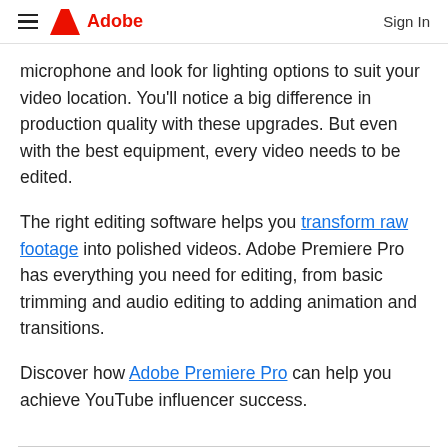Adobe  Sign In
microphone and look for lighting options to suit your video location. You'll notice a big difference in production quality with these upgrades. But even with the best equipment, every video needs to be edited.
The right editing software helps you transform raw footage into polished videos. Adobe Premiere Pro has everything you need for editing, from basic trimming and audio editing to adding animation and transitions.
Discover how Adobe Premiere Pro can help you achieve YouTube influencer success.